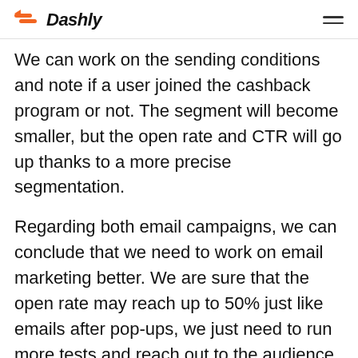Dashly
We can work on the sending conditions and note if a user joined the cashback program or not. The segment will become smaller, but the open rate and CTR will go up thanks to a more precise segmentation.
Regarding both email campaigns, we can conclude that we need to work on email marketing better. We are sure that the open rate may reach up to 50% just like emails after pop-ups, we just need to run more tests and reach out to the audience.